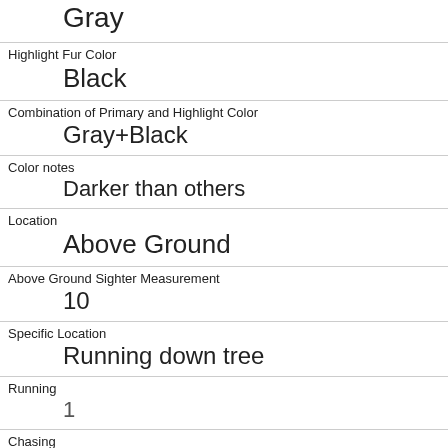Gray
Highlight Fur Color
Black
Combination of Primary and Highlight Color
Gray+Black
Color notes
Darker than others
Location
Above Ground
Above Ground Sighter Measurement
10
Specific Location
Running down tree
Running
1
Chasing
0
Climbing
1
Eating
0